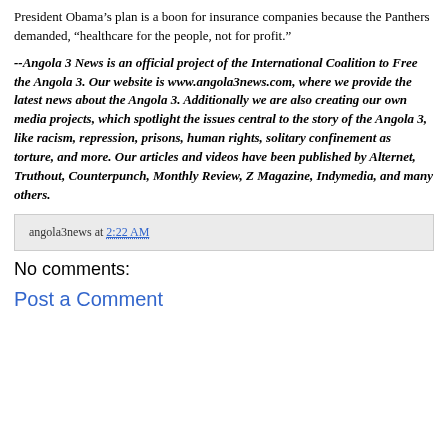President Obama’s plan is a boon for insurance companies because the Panthers demanded, “healthcare for the people, not for profit.”
--Angola 3 News is an official project of the International Coalition to Free the Angola 3. Our website is www.angola3news.com, where we provide the latest news about the Angola 3. Additionally we are also creating our own media projects, which spotlight the issues central to the story of the Angola 3, like racism, repression, prisons, human rights, solitary confinement as torture, and more. Our articles and videos have been published by Alternet, Truthout, Counterpunch, Monthly Review, Z Magazine, Indymedia, and many others.
angola3news at 2:22 AM
No comments:
Post a Comment